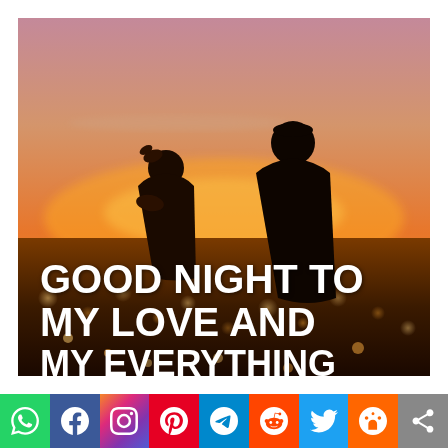[Figure (photo): A couple silhouetted against a warm sunset cityscape, viewed from behind. The sky glows orange and pink. City lights are visible below. Text overlay reads 'GOOD NIGHT TO MY LOVE AND MY EVERYTHING' in bold white capital letters.]
GOOD NIGHT TO MY LOVE AND MY EVERYTHING